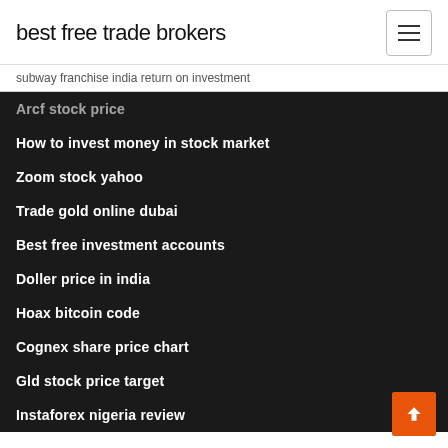best free trade brokers
subway franchise india return on investment
Arcf stock price
How to invest money in stock market
Zoom stock yahoo
Trade gold online dubai
Best free investment accounts
Doller price in india
Hoax bitcoin code
Cognex share price chart
Gld stock price target
Instaforex nigeria review